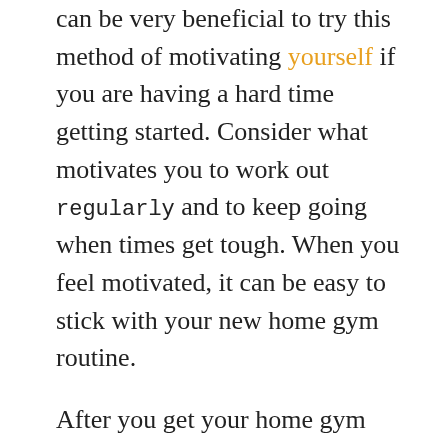can be very beneficial to try this method of motivating yourself if you are having a hard time getting started. Consider what motivates you to work out regularly and to keep going when times get tough. When you feel motivated, it can be easy to stick with your new home gym routine.
After you get your home gym equipment, you will want to ensure that you find a well designed piece of equipment. Take some time to research the different options available to you and see which ones meet your needs. Once you have found the home gym equipment that you want, you can then choose a trainer and purchase the equipment.Find a certified trainer. It is extremely important that you choose a trainer who has the skills and knowledge to help you with your home gym equipment. Look for a trainer who works with others in your own fitness class, and see if they